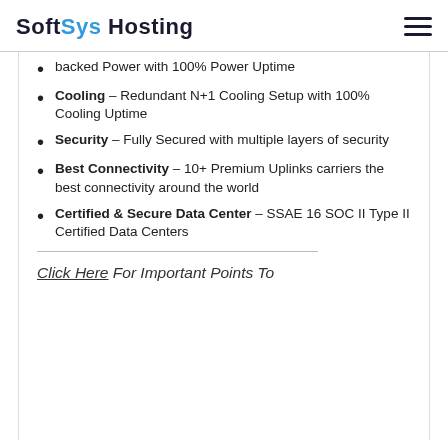SoftSys Hosting
backed Power with 100% Power Uptime
Cooling – Redundant N+1 Cooling Setup with 100% Cooling Uptime
Security – Fully Secured with multiple layers of security
Best Connectivity – 10+ Premium Uplinks carriers the best connectivity around the world
Certified & Secure Data Center – SSAE 16 SOC II Type II Certified Data Centers
Click Here For Important Points To